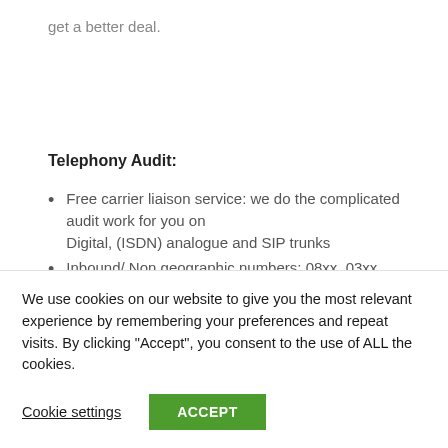get a better deal.
Telephony Audit:
Free carrier liaison service: we do the complicated audit work for you on Digital, (ISDN) analogue and SIP trunks
Inbound/ Non geographic numbers: 08xx, 03xx
We use cookies on our website to give you the most relevant experience by remembering your preferences and repeat visits. By clicking “Accept”, you consent to the use of ALL the cookies.
Cookie settings
ACCEPT